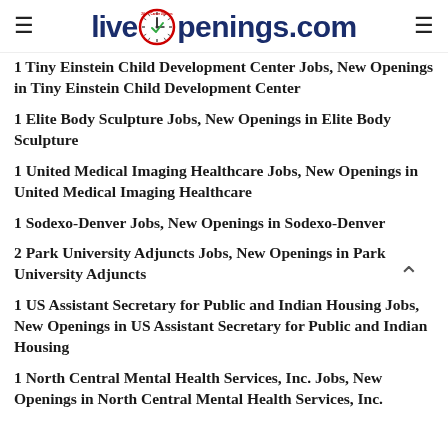LiveOpenings.com
1 Tiny Einstein Child Development Center Jobs, New Openings in Tiny Einstein Child Development Center
1 Elite Body Sculpture Jobs, New Openings in Elite Body Sculpture
1 United Medical Imaging Healthcare Jobs, New Openings in United Medical Imaging Healthcare
1 Sodexo-Denver Jobs, New Openings in Sodexo-Denver
2 Park University Adjuncts Jobs, New Openings in Park University Adjuncts
1 US Assistant Secretary for Public and Indian Housing Jobs, New Openings in US Assistant Secretary for Public and Indian Housing
1 North Central Mental Health Services, Inc. Jobs, New Openings in North Central Mental Health Services, Inc.